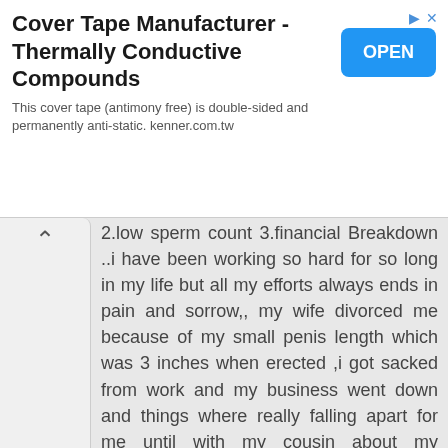[Figure (screenshot): Advertisement banner: Cover Tape Manufacturer - Thermally Conductive Compounds with OPEN button]
2.low sperm count 3.financial Breakdown ..i have been working so hard for so long in my life but all my efforts always ends in pain and sorrow,, my wife divorced me because of my small penis length which was 3 inches when erected ,i got sacked from work and my business went down and things where really falling apart for me until with my cousin about my problems and my cousin MARIAN GEORGE who stays in new York told me how this great herbal doctor HARRY helped her got pregnant and enlarge her husband penis so i quickly ask for his contact and she gave me his website link https://drharryherbaltempl.wixsite.com/solutiontemple and i contacted him and he gave me a feed back and told me all i needed to do and i did it ,,he prepared a penis enlargement cream for me and Casted a good luck and prosperity spell